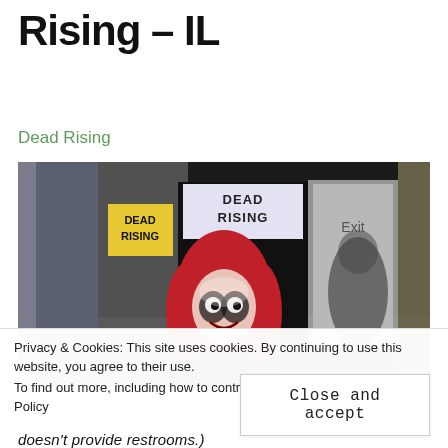Rising – IL
Dead Rising
[Figure (photo): A person in a clown mask with red hair standing in front of a 'Dead Rising' haunted attraction entrance, with signs reading 'DEAD RISING' and an 'EXIT' door visible in the background.]
Privacy & Cookies: This site uses cookies. By continuing to use this website, you agree to their use.
To find out more, including how to control cookies, see here: Cookie Policy
Close and accept
doesn't provide restrooms.)